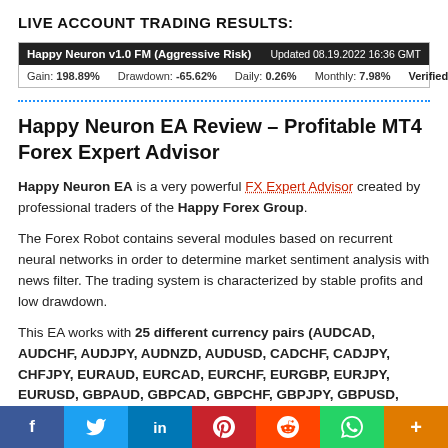LIVE ACCOUNT TRADING RESULTS:
[Figure (screenshot): Myfxbook trading results widget for Happy Neuron v1.0 FM (Aggressive Risk). Shows: Gain: 198.89%, Drawdown: -65.62%, Daily: 0.26%, Monthly: 7.98%. Updated 08.19.2022 16:36 GMT. Verified by Myfxbook.]
Happy Neuron EA Review – Profitable MT4 Forex Expert Advisor
Happy Neuron EA is a very powerful FX Expert Advisor created by professional traders of the Happy Forex Group.
The Forex Robot contains several modules based on recurrent neural networks in order to determine market sentiment analysis with news filter. The trading system is characterized by stable profits and low drawdown.
This EA works with 25 different currency pairs (AUDCAD, AUDCHF, AUDJPY, AUDNZD, AUDUSD, CADCHF, CADJPY, CHFJPY, EURAUD, EURCAD, EURCHF, EURGBP, EURJPY, EURUSD, GBPAUD, GBPCAD, GBPCHF, GBPJPY, GBPUSD, NZDCHF, NZDJPY, NZDUSD, USDCAD,
[Figure (infographic): Social sharing bar with buttons: Facebook (blue), Twitter (light blue), LinkedIn (dark blue), Pinterest (red), Reddit (orange-red), WhatsApp (green), More (orange)]